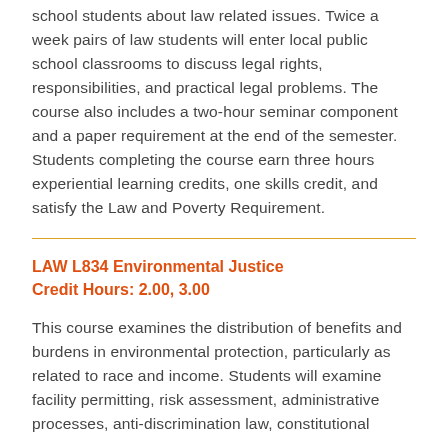school students about law related issues. Twice a week pairs of law students will enter local public school classrooms to discuss legal rights, responsibilities, and practical legal problems. The course also includes a two-hour seminar component and a paper requirement at the end of the semester. Students completing the course earn three hours experiential learning credits, one skills credit, and satisfy the Law and Poverty Requirement.
LAW L834 Environmental Justice
Credit Hours: 2.00, 3.00
This course examines the distribution of benefits and burdens in environmental protection, particularly as related to race and income. Students will examine facility permitting, risk assessment, administrative processes, anti-discrimination law, constitutional